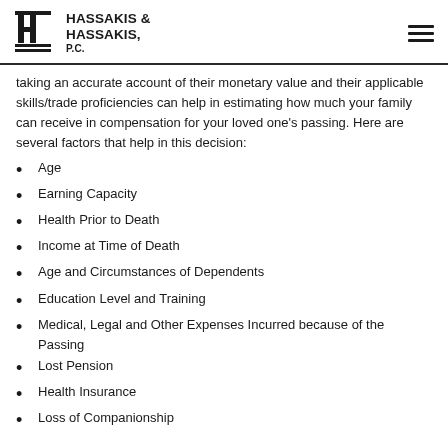HASSAKIS & HASSAKIS, P.C.
taking an accurate account of their monetary value and their applicable skills/trade proficiencies can help in estimating how much your family can receive in compensation for your loved one's passing. Here are several factors that help in this decision:
Age
Earning Capacity
Health Prior to Death
Income at Time of Death
Age and Circumstances of Dependents
Education Level and Training
Medical, Legal and Other Expenses Incurred because of the Passing
Lost Pension
Health Insurance
Loss of Companionship